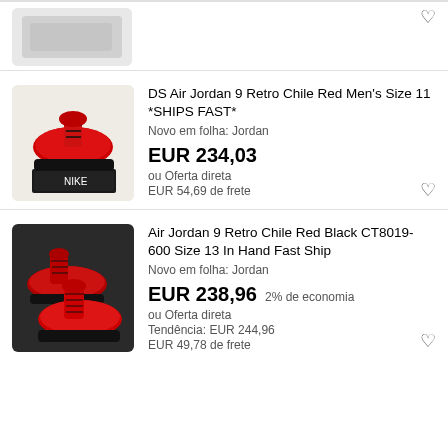[Figure (photo): Partial product listing image at top, cropped red sneaker box on marble background]
DS Air Jordan 9 Retro Chile Red Men's Size 11 *SHIPS FAST*
Novo em folha: Jordan
EUR 234,03
ou Oferta direta
EUR 54,69 de frete
[Figure (photo): Red Air Jordan 9 Retro Chile Red sneakers on dark background]
Air Jordan 9 Retro Chile Red Black CT8019-600 Size 13 In Hand Fast Ship
Novo em folha: Jordan
EUR 238,96  2% de economia
ou Oferta direta
Tendência: EUR 244,96
EUR 49,78 de frete